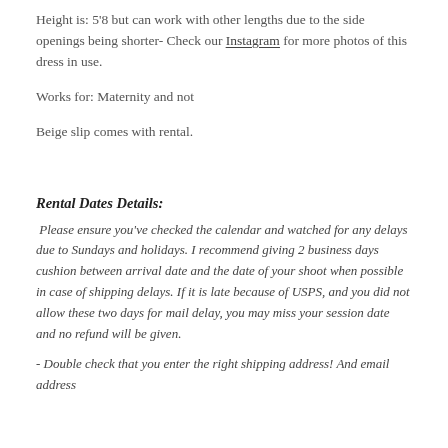Height is: 5'8 but can work with other lengths due to the side openings being shorter- Check our Instagram for more photos of this dress in use.
Works for: Maternity and not
Beige slip comes with rental.
Rental Dates Details:
Please ensure you've checked the calendar and watched for any delays due to Sundays and holidays. I recommend giving 2 business days cushion between arrival date and the date of your shoot when possible in case of shipping delays. If it is late because of USPS, and you did not allow these two days for mail delay, you may miss your session date and no refund will be given.
- Double check that you enter the right shipping address! And email address